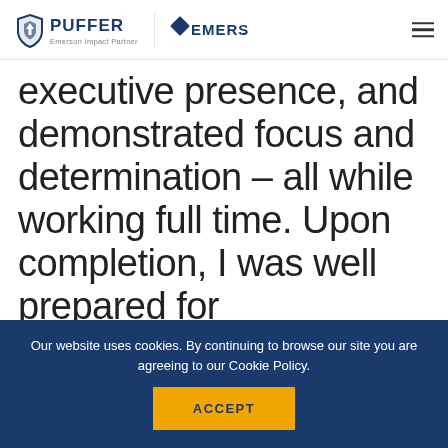PUFFER | Emerson Impact Partner | EMERSON
executive presence, and demonstrated focus and determination – all while working full time. Upon completion, I was well prepared for advancement opportunities at Puffer-
Our website uses cookies. By continuing to browse our site you are agreeing to our Cookie Policy. ACCEPT